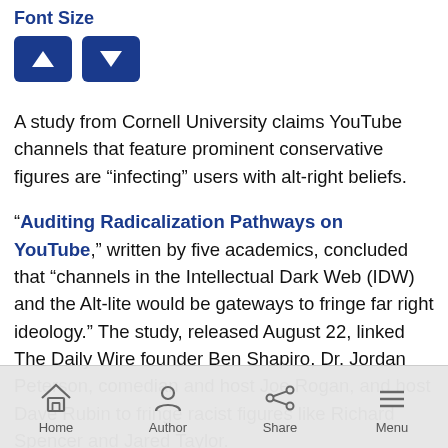Font Size
[Figure (other): Two dark blue buttons with up and down arrow icons for increasing/decreasing font size]
A study from Cornell University claims YouTube channels that feature prominent conservative figures are “infecting” users with alt-right beliefs.
“Auditing Radicalization Pathways on YouTube,” written by five academics, concluded that “channels in the Intellectual Dark Web (IDW) and the Alt-lite would be gateways to fringe far right ideology.” The study, released August 22, linked The Daily Wire founder Ben Shapiro, Dr. Jordan Peterson, comedian and host Joe Rogan, and host Dave Rubin to fringe racist figures like Richard Spencer and Jared Taylor.
Home   Author   Share   Menu